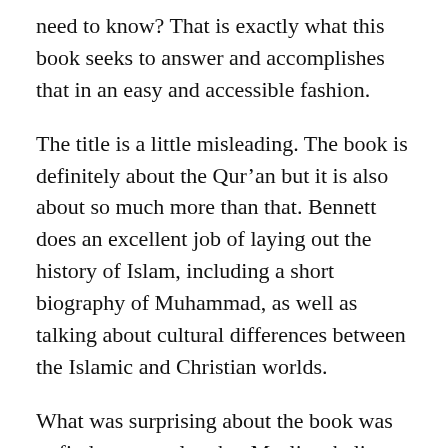need to know? That is exactly what this book seeks to answer and accomplishes that in an easy and accessible fashion.
The title is a little misleading. The book is definitely about the Qur'an but it is also about so much more than that. Bennett does an excellent job of laying out the history of Islam, including a short biography of Muhammad, as well as talking about cultural differences between the Islamic and Christian worlds.
What was surprising about the book was to find out exactly what Muslims believe about Christians, the Bible, and where we have commonalities. However, while there are some commonalities, Bennett details where our distinct differences lie as well.